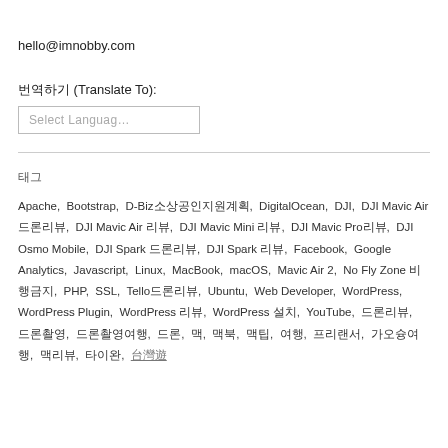hello@imnobby.com
번역하기 (Translate To):
Select Language
태그
Apache, Bootstrap, D-Biz소상공인지원계획, DigitalOcean, DJI, DJI Mavic Air 드론리뷰, DJI Mavic Air 리뷰, DJI Mavic Mini 리뷰, DJI Mavic Pro리뷰, DJI Osmo Mobile, DJI Spark 드론리뷰, DJI Spark 리뷰, Facebook, Google Analytics, Javascript, Linux, MacBook, macOS, Mavic Air 2, No Fly Zone 비행금지, PHP, SSL, Tello드론리뷰, Ubuntu, Web Developer, WordPress, WordPress Plugin, WordPress 리뷰, WordPress 설치, YouTube, 드론리뷰, 드론촬영, 드론촬영여행, 드론, 맥, 맥북, 맥팁, 여행, 프리랜서, 가오슝여행, 맥리뷰, 타이완, 台灣遊